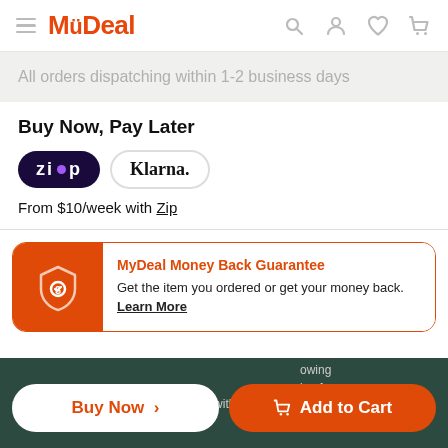MyDeal
All orders dispatching within 1-2 business days
Buy Now, Pay Later
[Figure (logo): Zip and Klarna payment logos]
From $10/week with Zip
MyDeal Money Back Guarantee — Get the item you ordered or get your money back. Learn More
Buy Now >   Add to Cart